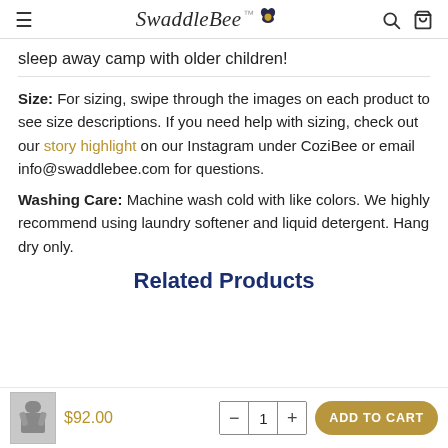SwaddleBee (logo with navigation icons)
sleep away camp with older children!
Size: For sizing, swipe through the images on each product to see size descriptions. If you need help with sizing, check out our story highlight on our Instagram under CoziBee or email info@swaddlebee.com for questions.
Washing Care: Machine wash cold with like colors. We highly recommend using laundry softener and liquid detergent. Hang dry only.
Related Products
$92.00
1
ADD TO CART